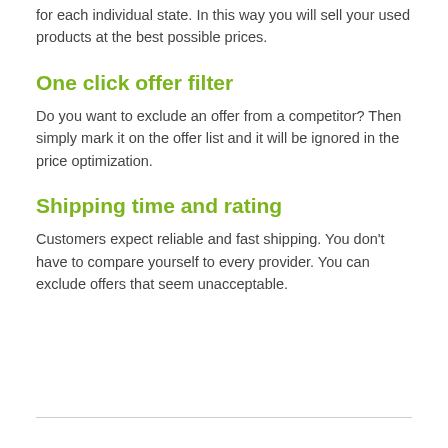for each individual state. In this way you will sell your used products at the best possible prices.
One click offer filter
Do you want to exclude an offer from a competitor? Then simply mark it on the offer list and it will be ignored in the price optimization.
Shipping time and rating
Customers expect reliable and fast shipping. You don’t have to compare yourself to every provider. You can exclude offers that seem unacceptable.